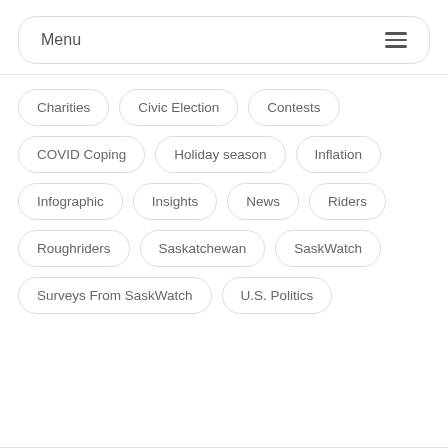Menu
Charities
Civic Election
Contests
COVID Coping
Holiday season
Inflation
Infographic
Insights
News
Riders
Roughriders
Saskatchewan
SaskWatch
Surveys From SaskWatch
U.S. Politics